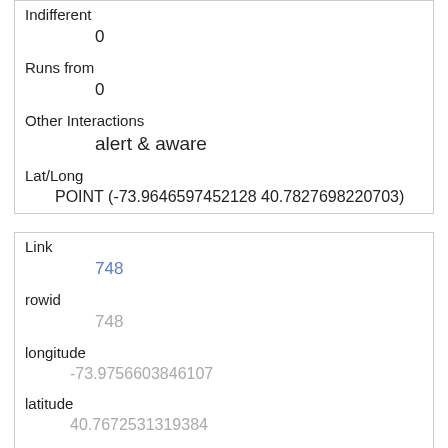| Field | Value |
| --- | --- |
| Indifferent | 0 |
| Runs from | 0 |
| Other Interactions | alert & aware |
| Lat/Long | POINT (-73.9646597452128 40.7827698220703) |
| Field | Value |
| --- | --- |
| Link | 748 |
| rowid | 748 |
| longitude | -73.9756603846107 |
| latitude | 40.7672531319384 |
| Unique Squirrel ID | 3F-PM-1013-03 |
| Hectare | 03F |